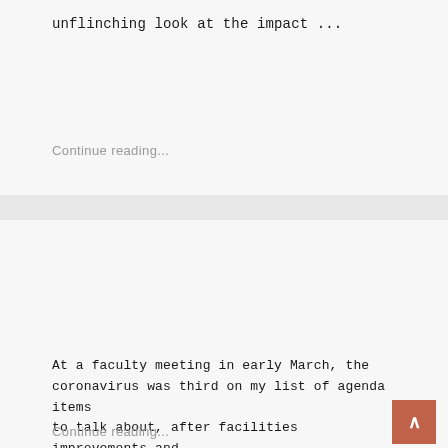unflinching look at the impact ...
Continue reading...
2020 Issue 1  —  May 1, 2020
President's Letter: Building Toward a New Normal
At a faculty meeting in early March, the coronavirus was third on my list of agenda items to talk about, after facilities improvements and fundraising progress. When I mentioned a colleague's suggestion that Wesleyan can...
Continue reading...